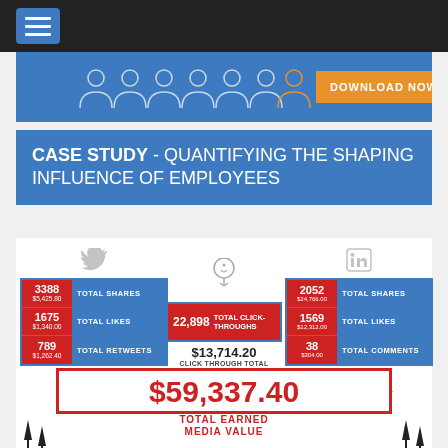[Figure (infographic): Hamburger menu icon in blue box on black top bar]
[Figure (infographic): Blue banner with person icons and orange DOWNLOAD NOW button]
CASE STUDY - QUANTIFYING THE SHAPING INFLUENCE OF EMPLOYEES
[Figure (infographic): Case study infographic showing Twitter stats: 3388 Total Shares ($5,425.80), 1675 Total Likes ($1,340.00), 789 Total Retweets ($1,262.40), Twitter Total $8,023.20. Center: 22,898 Total Click-Throughs, $13,714.20 Click Through Total. LinkedIn stats: 2052 Total Shares ($24,766.00), 1569 Total Likes ($12,312.00), 38 Total Comments ($304.00), LinkedIn Total $37,600. Big box: $59,337.40 Total Earned Media Value.]